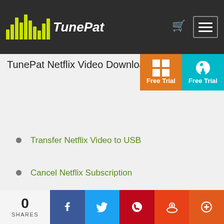TunePat
[Figure (logo): TunePat logo with green bar chart icon and white italic text on dark background]
TunePat Netflix Video Downloader
Transfer Netflix Video to USB
Cancel Netflix Subscription
Upload Netflix to Google Drive
Netflix to Galaxy S20 Series
Save Netflix to SD Card
Watch Netflix without VPN
About Netflix Downloads
0 SHARES